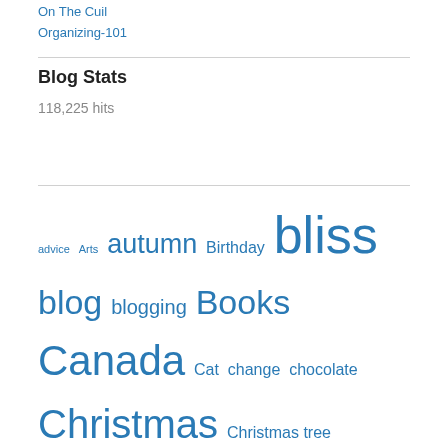On The Cuil
Organizing-101
Blog Stats
118,225 hits
advice Arts autumn Birthday bliss blog blogging Books Canada Cat change chocolate Christmas Christmas tree coffee cold cook cooking Dreams faith Fall Family family life food Friday Friends God grateful Gratitude haiku Halloween happiness happy holiday Holidays home hope Humor humour inspiration joy Lake Erie life Literature love